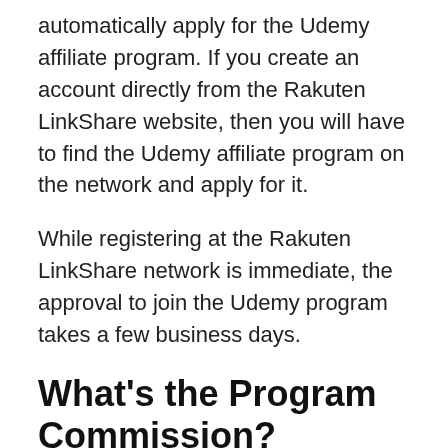automatically apply for the Udemy affiliate program. If you create an account directly from the Rakuten LinkShare website, then you will have to find the Udemy affiliate program on the network and apply for it.
While registering at the Rakuten LinkShare network is immediate, the approval to join the Udemy program takes a few business days.
What's the Program Commission?